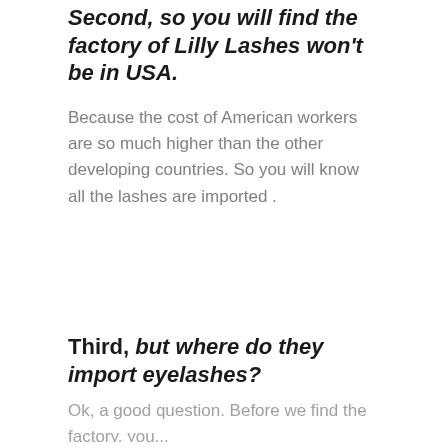Second, so you will find the factory of Lilly Lashes won't be in USA.
Because the cost of American workers are so much higher than the other developing countries. So you will know all the lashes are imported .
Third, but where do they import eyelashes?
Ok, a good question. Before we find the factory, you...